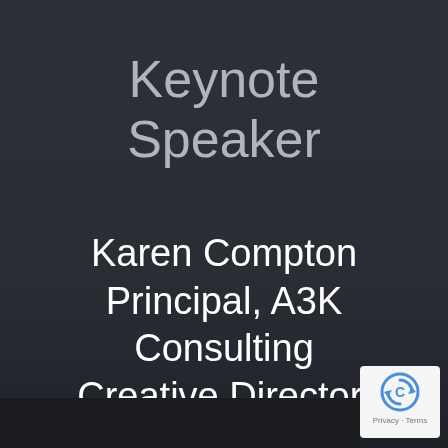Keynote Speaker
Karen Compton
Principal, A3K Consulting
Creative Director, Industry Speaks
[Figure (logo): reCAPTCHA badge with circular arrow icon and Privacy - Terms text]